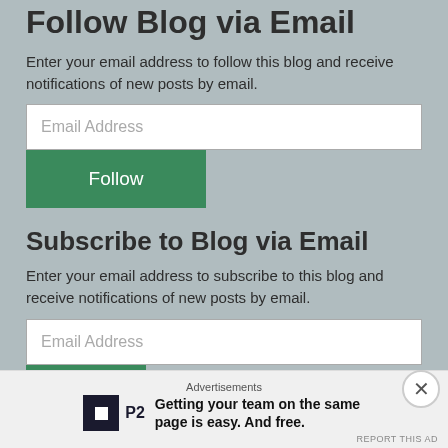Follow Blog via Email
Enter your email address to follow this blog and receive notifications of new posts by email.
Email Address
Follow
Subscribe to Blog via Email
Enter your email address to subscribe to this blog and receive notifications of new posts by email.
Email Address
Advertisements
Getting your team on the same page is easy. And free.